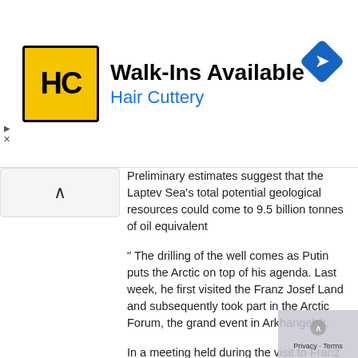[Figure (other): Hair Cuttery advertisement banner with logo (HC in yellow box), text 'Walk-Ins Available' and 'Hair Cuttery' in blue, and a blue navigation diamond icon on the right]
Preliminary estimates suggest that the Laptev Sea's total potential geological resources could come to 9.5 billion tonnes of oil equivalent
" The drilling of the well comes as Putin puts the Arctic on top of his agenda. Last week, he first visited the Franz Josef Land and subsequently took part in the Arctic Forum, the grand event in Arkhangelsk.
In a meeting held during the visit to Franz Josef Land, and in the premises of the Russian Arctic National Park, Putin highlighted not environment and climate change, but the major oil and gas potential of the region.
The Russian Arctic zone includes energy resources worth up to $20 trillion, he mainta and said that the country's production on the Shei